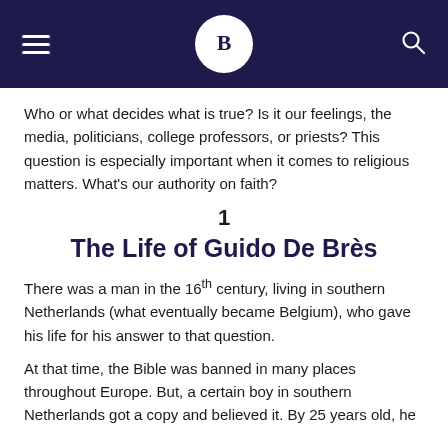B [logo] [hamburger menu] [search icon]
Who or what decides what is true? Is it our feelings, the media, politicians, college professors, or priests? This question is especially important when it comes to religious matters. What's our authority on faith?
1
The Life of Guido De Brès
There was a man in the 16th century, living in southern Netherlands (what eventually became Belgium), who gave his life for his answer to that question.
At that time, the Bible was banned in many places throughout Europe. But, a certain boy in southern Netherlands got a copy and believed it. By 25 years old, he